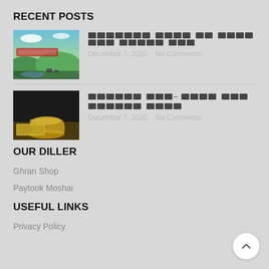RECENT POSTS
[Figure (photo): Thumbnail image of green hills, sky, and cows with Bengali text overlay]
[Bengali post title 1]
December 7, 2020   No Comments
[Figure (photo): Thumbnail image of a glass of honey/tea on a dark surface with Bengali text label]
[Bengali post title 2]
December 7, 2020   No Comments
OUR DILLER
Ghran Shop
Paytook Moshai
USEFUL LINKS
Privacy Policy